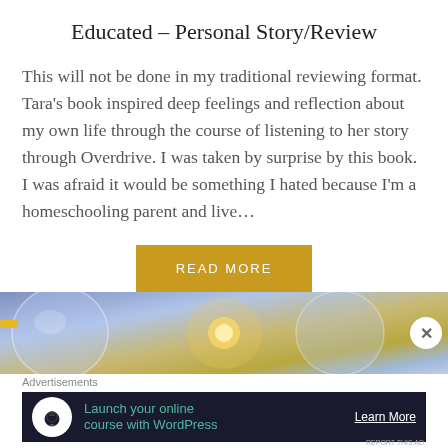Educated – Personal Story/Review
This will not be done in my traditional reviewing format. Tara's book inspired deep feelings and reflection about my own life through the course of listening to her story through Overdrive. I was taken by surprise by this book. I was afraid it would be something I hated because I'm a homeschooling parent and live…
[Figure (other): Golden/amber colored 'READ MORE' button]
[Figure (photo): Abstract photo with glowing light bulb elements against a blue/purple background with a close button (X)]
Advertisements
[Figure (other): Advertisement banner: dark background with tree/person icon, text 'Launch your online course with WordPress', and 'Learn More' link]